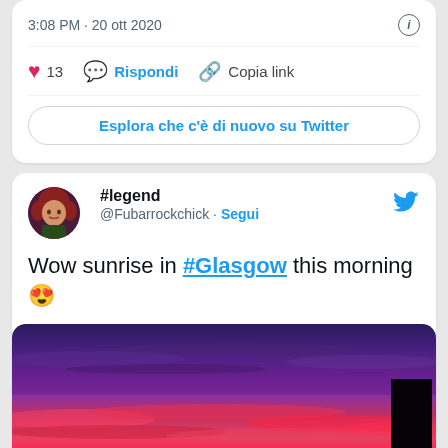3:08 PM · 20 ott 2020
13  Rispondi  Copia link
Esplora che c'è di nuovo su Twitter
#legend @Fubarrockchick · Segui
Wow sunrise in #Glasgow this morning 😍
[Figure (photo): A dramatic Glasgow sunrise with deep purple and blue upper sky transitioning to vivid red and pink lower sky with wispy cloud streaks and a dark silhouette at the right edge]